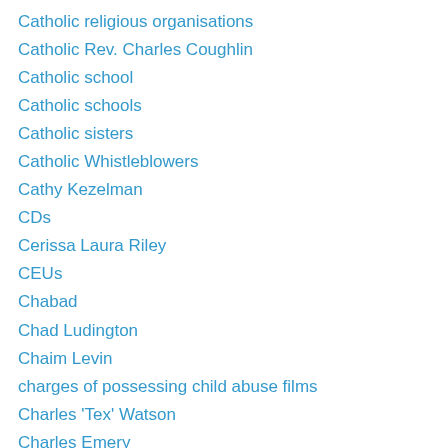Catholic religious organisations
Catholic Rev. Charles Coughlin
Catholic school
Catholic schools
Catholic sisters
Catholic Whistleblowers
Cathy Kezelman
CDs
Cerissa Laura Riley
CEUs
Chabad
Chad Ludington
Chaim Levin
charges of possessing child abuse films
Charles 'Tex' Watson
Charles Emery
Charles Lindbergh
Charles Manson
Charles Mozdir
Charles Napier